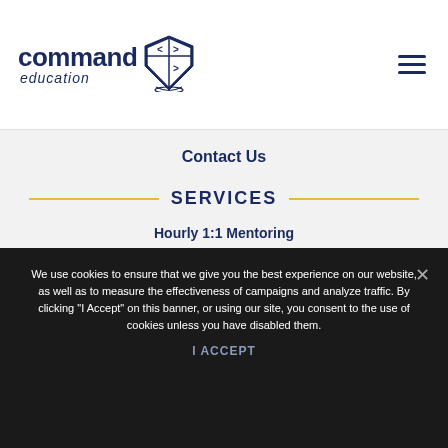command education [logo with shield]
Contact Us
SERVICES
Hourly 1:1 Mentoring
Premier Senior Package®
We use cookies to ensure that we give you the best experience on our website, as well as to measure the effectiveness of campaigns and analyze traffic. By clicking "I Accept" on this banner, or using our site, you consent to the use of cookies unless you have disabled them.
I ACCEPT